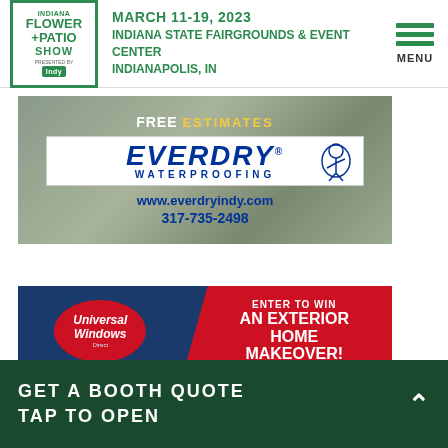Indiana Flower + Patio Show | March 11-19, 2023 | Indiana State Fairgrounds & Event Center, Indianapolis, IN
[Figure (advertisement): Everdry Waterproofing ad: FREE ESTIMATES, Everdry Waterproofing logo, www.everdryindy.com, 317-735-2498]
[Figure (advertisement): Universal Windows Direct ad: Enter to Win an Exterior Home Makeover!]
GET A BOOTH QUOTE
TAP TO OPEN